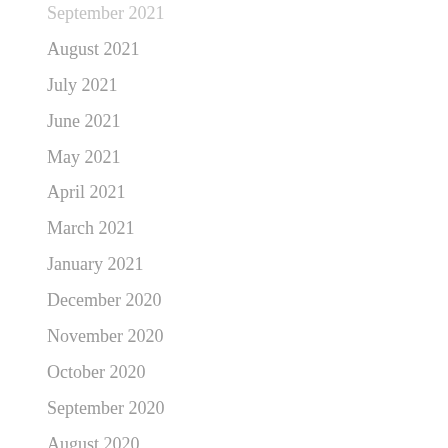September 2021
August 2021
July 2021
June 2021
May 2021
April 2021
March 2021
January 2021
December 2020
November 2020
October 2020
September 2020
August 2020